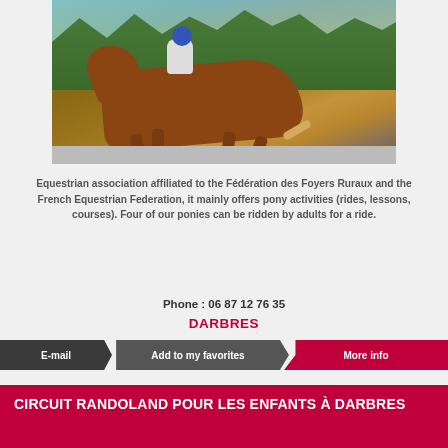[Figure (photo): A chestnut horse with a rider in white breeches, white shirt and blue helmet, trotting along a path with green trees in the background.]
Equestrian association affiliated to the Fédération des Foyers Ruraux and the French Equestrian Federation, it mainly offers pony activities (rides, lessons, courses). Four of our ponies can be ridden by adults for a ride.
Phone : 06 87 12 76 35
DARBRES
E-mail   Add to my favorites   More info
CIRCUIT RANDOLAND POUR LES ENFANTS À DARBRES